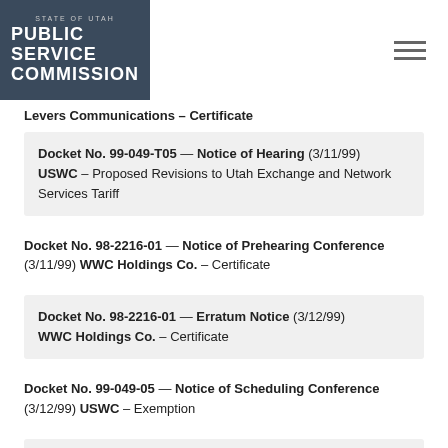STATE OF UTAH PUBLIC SERVICE COMMISSION
Levers Communications – Certificate
Docket No. 99-049-T05 — Notice of Hearing (3/11/99) USWC – Proposed Revisions to Utah Exchange and Network Services Tariff
Docket No. 98-2216-01 — Notice of Prehearing Conference (3/11/99) WWC Holdings Co. – Certificate
Docket No. 98-2216-01 — Erratum Notice (3/12/99) WWC Holdings Co. – Certificate
Docket No. 99-049-05 — Notice of Scheduling Conference (3/12/99) USWC – Exemption
Docket No. 98-2267-01 — Notice (3/16/99) CCCUT, dba Connect – Certificate